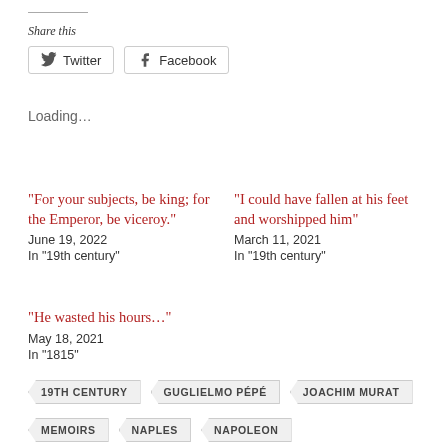Share this
Twitter   Facebook
Loading…
“For your subjects, be king; for the Emperor, be viceroy.”
June 19, 2022
In “19th century”
“I could have fallen at his feet and worshipped him”
March 11, 2021
In “19th century”
“He wasted his hours…”
May 18, 2021
In “1815”
19TH CENTURY   GUGLIELMO PÉPÉ   JOACHIM MURAT
MEMOIRS   NAPLES   NAPOLEON